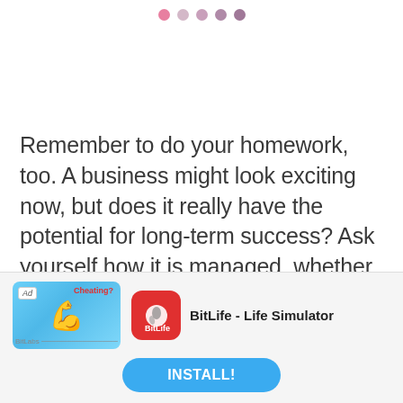• • • • •
Remember to do your homework, too. A business might look exciting now, but does it really have the potential for long-term success? Ask yourself how it is managed, whether the sector it is in is growing, and what the owners' ambitions look like. Are they realistic? Do this for every business you buy shares for, and keep a close eye on the stock market to see how they're doing. Check out
[Figure (screenshot): Advertisement banner for BitLife - Life Simulator app with muscle emoji graphic and Install button]